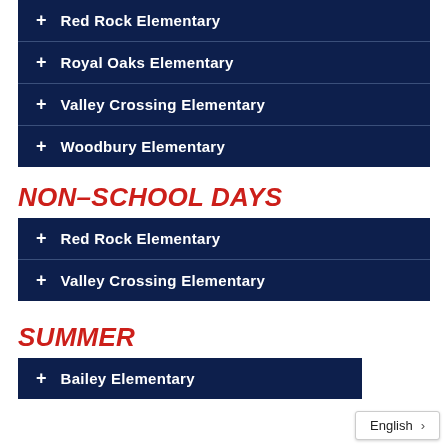+ Red Rock Elementary
+ Royal Oaks Elementary
+ Valley Crossing Elementary
+ Woodbury Elementary
NON-SCHOOL DAYS
+ Red Rock Elementary
+ Valley Crossing Elementary
SUMMER
+ Bailey Elementary